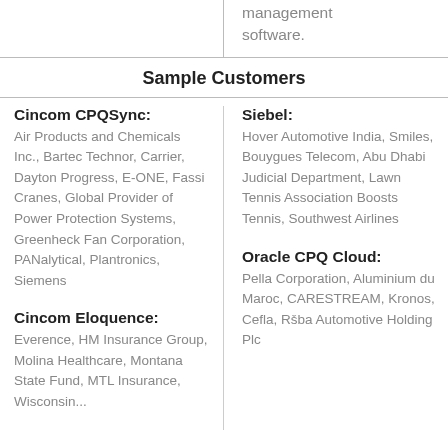management software.
Sample Customers
Cincom CPQSync:
Air Products and Chemicals Inc., Bartec Technor, Carrier, Dayton Progress, E-ONE, Fassi Cranes, Global Provider of Power Protection Systems, Greenheck Fan Corporation, PANalytical, Plantronics, Siemens
Siebel:
Hover Automotive India, Smiles, Bouygues Telecom, Abu Dhabi Judicial Department, Lawn Tennis Association Boosts Tennis, Southwest Airlines
Oracle CPQ Cloud:
Pella Corporation, Aluminium du Maroc, CARESTREAM, Kronos, Cefla, Ršba Automotive Holding Plc
Cincom Eloquence:
Everence, HM Insurance Group, Molina Healthcare, Montana State Fund, MTL Insurance, Wisconsin...